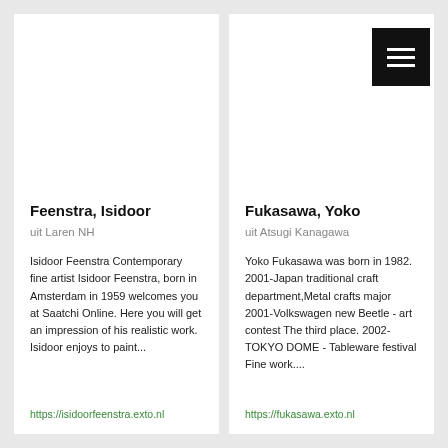[Figure (other): Navigation menu button with three white horizontal bars on black background, positioned top right]
Feenstra, Isidoor
uit Laren NH
Isidoor Feenstra Contemporary fine artist Isidoor Feenstra, born in Amsterdam in 1959 welcomes you at Saatchi Online. Here you will get an impression of his realistic work. Isidoor enjoys to paint...
https://isidoorfeenstra.exto.nl
Fukasawa, Yoko
uit Atsugi Kanagawa
Yoko Fukasawa was born in 1982. 2001-Japan traditional craft department,Metal crafts major 2001-Volkswagen new Beetle - art contest The third place. 2002-TOKYO DOME - Tableware festival Fine work....
https://fukasawa.exto.nl